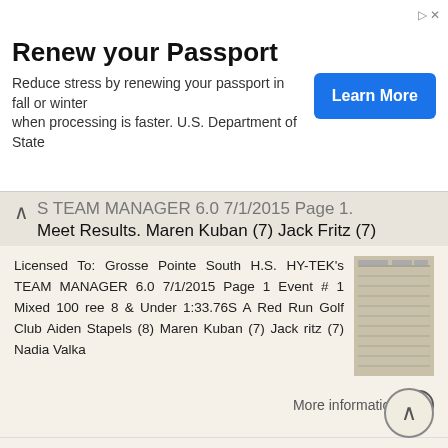[Figure (infographic): Advertisement banner: Renew your Passport. Reduce stress by renewing your passport in fall or winter when processing is faster. U.S. Department of State. Learn More button.]
S TEAM MANAGER 6.0 7/1/2015 Page 1. Meet Results. Maren Kuban (7) Jack Fritz (7)
Licensed To: Grosse Pointe South H.S. HY-TEK's TEAM MANAGER 6.0 7/1/2015 Page 1 Event # 1 Mixed 100 ree 8 & Under 1:33.76S A Red Run Golf Club Aiden Stapels (8) Maren Kuban (7) Jack ritz (7) Nadia Valka
More information →
Fareham Nomads All Time Top 20 Swimmers
As of January 1 st 2011 Times for a 25m Pool (no split times) 50m Backstroke, Female 1 0323 Clegg Hannah 29.75